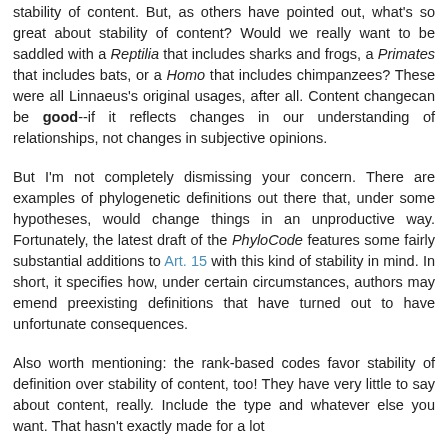stability of content. But, as others have pointed out, what's so great about stability of content? Would we really want to be saddled with a Reptilia that includes sharks and frogs, a Primates that includes bats, or a Homo that includes chimpanzees? These were all Linnaeus's original usages, after all. Content changecan be good--if it reflects changes in our understanding of relationships, not changes in subjective opinions.
But I'm not completely dismissing your concern. There are examples of phylogenetic definitions out there that, under some hypotheses, would change things in an unproductive way. Fortunately, the latest draft of the PhyloCode features some fairly substantial additions to Art. 15 with this kind of stability in mind. In short, it specifies how, under certain circumstances, authors may emend preexisting definitions that have turned out to have unfortunate consequences.
Also worth mentioning: the rank-based codes favor stability of definition over stability of content, too! They have very little to say about content, really. Include the type and whatever else you want. That hasn't exactly made for a lot